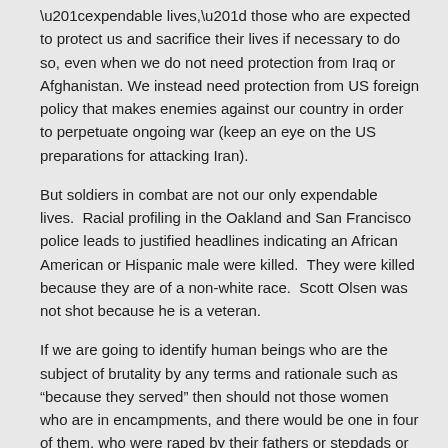“expendable lives,” those who are expected to protect us and sacrifice their lives if necessary to do so, even when we do not need protection from Iraq or Afghanistan. We instead need protection from US foreign policy that makes enemies against our country in order to perpetuate ongoing war (keep an eye on the US preparations for attacking Iran).
But soldiers in combat are not our only expendable lives. Racial profiling in the Oakland and San Francisco police leads to justified headlines indicating an African American or Hispanic male were killed. They were killed because they are of a non-white race. Scott Olsen was not shot because he is a veteran.
If we are going to identify human beings who are the subject of brutality by any terms and rationale such as “because they served” then should not those women who are in encampments, and there would be one in four of them, who were raped by their fathers or stepdads or grandpas regularly, sometimes for years, lives expended to another form of male power and domination, be identified as sexual abuse survivor if they are subjected to police brutality. Should one of them be protesting and shot in the head by the Oakland Police because she is protesting, we would not likely be announcing that brutal act as “Sexual Abuse Victim Shot by Oakland